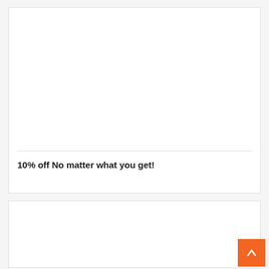[Figure (other): White card with empty image area at top, followed by a horizontal divider and text below]
10% off No matter what you get!
[Figure (other): Second white card with empty content area]
[Figure (other): Orange scroll-to-top button with upward chevron arrow in bottom-right corner]